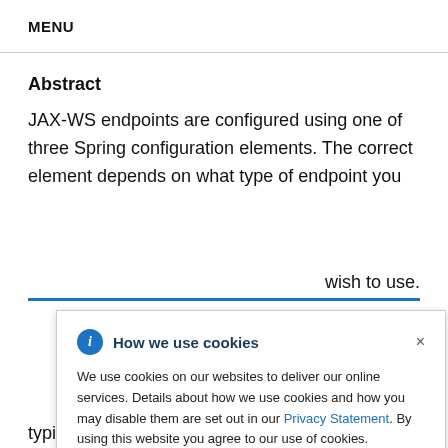MENU
Abstract
JAX-WS endpoints are configured using one of three Spring configuration elements. The correct element depends on what type of endpoint you are configuring and which features wish to use.
[Figure (screenshot): Cookie consent popup dialog with title 'How we use cookies', info icon, close button (×), and body text about cookie usage with a Privacy Statement link.]
typically defined in the endpoint's contract. You